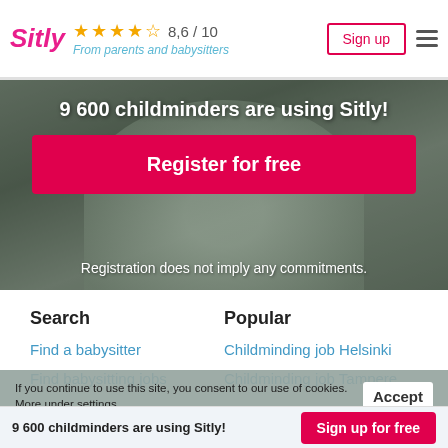Sitly — From parents and babysitters — Rating: 8.6/10 — Sign up — Menu
[Figure (photo): Hero image of two children/people outdoors with text overlay: 9 600 childminders are using Sitly!, Register for free button, Registration does not imply any commitments.]
9 600 childminders are using Sitly!
Register for free
Registration does not imply any commitments.
Search
Find a babysitter
Find babysitting jobs
Popular
Childminding job Helsinki
Childminding job Tampere
If you continue to use this site, you consent to our use of cookies. More under settings.
Accept
Childminding job Espoo
9 600 childminders are using Sitly! — Sign up for free